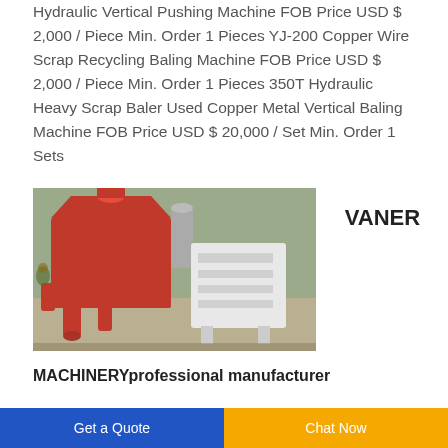Hydraulic Vertical Pushing Machine FOB Price USD $ 2,000 / Piece Min. Order 1 Pieces YJ-200 Copper Wire Scrap Recycling Baling Machine FOB Price USD $ 2,000 / Piece Min. Order 1 Pieces 350T Hydraulic Heavy Scrap Baler Used Copper Metal Vertical Baling Machine FOB Price USD $ 20,000 / Set Min. Order 1 Sets
[Figure (photo): Industrial machinery photo showing a red and white machine (likely a baling or recycling machine) in a factory setting]
VANER
MACHINERYprofessional manufacturer
Get a Quote
Chat Now